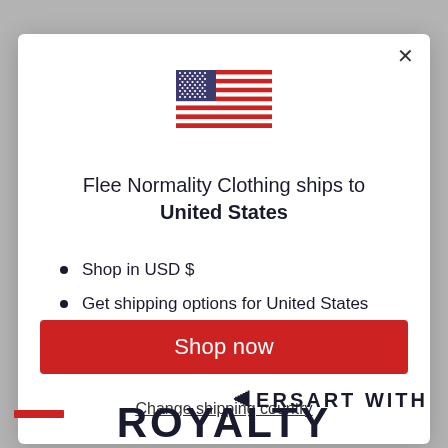[Figure (illustration): US flag SVG illustration inside a modal dialog]
Flee Normality Clothing ships to United States
Shop in USD $
Get shipping options for United States
Shop now
Change shipping country
ROYALTY